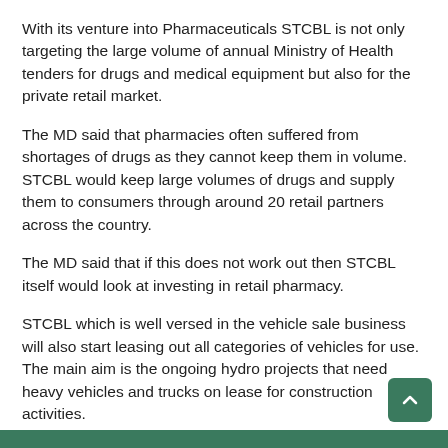With its venture into Pharmaceuticals STCBL is not only targeting the large volume of annual Ministry of Health tenders for drugs and medical equipment but also for the private retail market.
The MD said that pharmacies often suffered from shortages of drugs as they cannot keep them in volume. STCBL would keep large volumes of drugs and supply them to consumers through around 20 retail partners across the country.
The MD said that if this does not work out then STCBL itself would look at investing in retail pharmacy.
STCBL which is well versed in the vehicle sale business will also start leasing out all categories of vehicles for use. The main aim is the ongoing hydro projects that need heavy vehicles and trucks on lease for construction activities.
STCBL is a DHI company and has a total employee strength of 171 people.